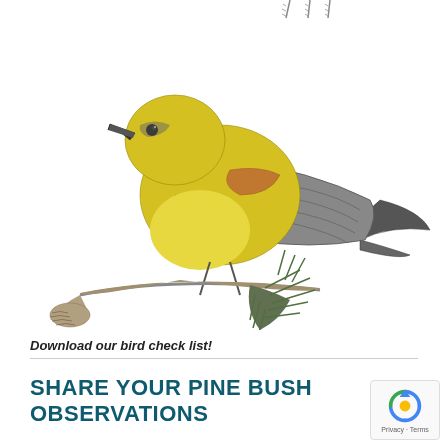[Figure (illustration): Illustration of a yellow warbler bird perched on a pine branch/grass stem, with beak open, yellow plumage with dark streaks and orange-brown wing patches, detailed feather rendering. Small grass blades visible at top of image.]
Download our bird check list!
SHARE YOUR PINE BUSH OBSERVATIONS
[Figure (logo): reCAPTCHA badge with blue recycling arrow logo icon and 'Privacy - Terms' text below]